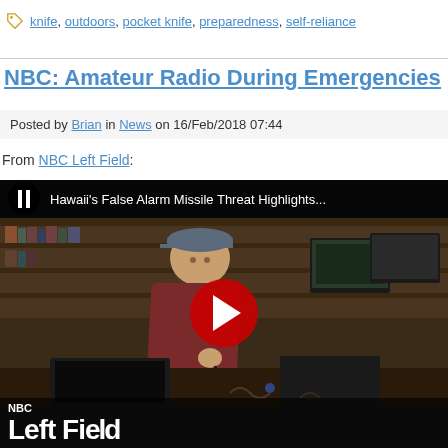knife, outdoors, pocket knife, preparedness, self-reliance
NBC: Amateur Radio During Emergencies
Posted by Brian in News on 16/Feb/2018 07:44
From NBC Left Field:
[Figure (screenshot): YouTube video thumbnail for 'Hawaii's False Alarm Missile Threat Highlights...' from NBC Left Field, showing a man in a radio room with multiple monitors and equipment, with a red YouTube play button in the center, and NBC Left Field branding at the bottom.]